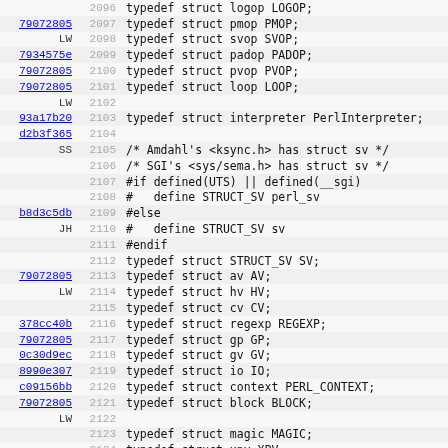Source code listing with annotations, lines 2096-2128
2096 typedef struct logop LOGOP;
79072805 LW 2097 typedef struct pmop PMOP;
2098 typedef struct svop SVOP;
7934575e 2099 typedef struct padop PADOP;
79072805 2100 typedef struct pvop PVOP;
79072805 2101 typedef struct loop LOOP;
LW 2102
93a17b20 2103 typedef struct interpreter PerlInterpreter;
d2b3f365 2104
SS 2105 /* Amdahl's <ksync.h> has struct sv */
2106 /* SGI's <sys/sema.h> has struct sv */
2107 #if defined(UTS) || defined(__sgi)
2108 #   define STRUCT_SV perl_sv
b8d3c5db 2109 #else
JH 2110 #   define STRUCT_SV sv
2111 #endif
2112 typedef struct STRUCT_SV SV;
79072805 2113 typedef struct av AV;
LW 2114 typedef struct hv HV;
2115 typedef struct cv CV;
378cc40b 2116 typedef struct regexp REGEXP;
79072805 2117 typedef struct gp GP;
0c30d9ec 2118 typedef struct gv GV;
8990e307 2119 typedef struct io IO;
c09156bb 2120 typedef struct context PERL_CONTEXT;
79072805 2121 typedef struct block BLOCK;
LW 2122
2123 typedef struct magic MAGIC;
2124 typedef struct xpv XPV;
2125 typedef struct xpviv XPVIV;
ff68c719 2126 typedef struct xpvuv XPVUV;
79072805 2127 typedef struct xpvnv XPVNV;
2128 typedef struct ... XPVNS;